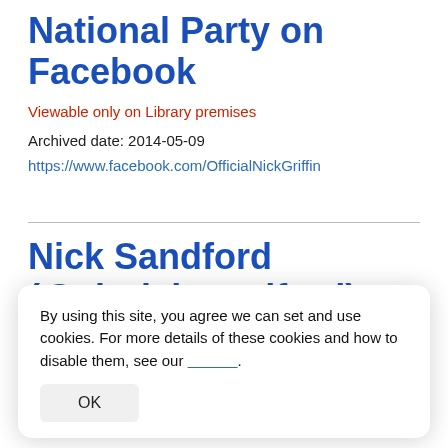National Party on Facebook
Viewable only on Library premises
Archived date: 2014-05-09
https://www.facebook.com/OfficialNickGriffin
Nick Sandford (@clrnicksandford) on Twitter (ti...
By using this site, you agree we can set and use cookies. For more details of these cookies and how to disable them, see our [cookie policy].